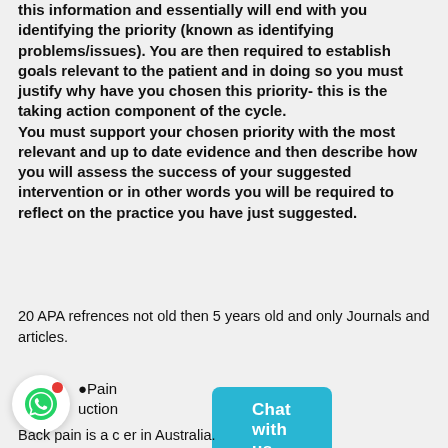this information and essentially will end with you identifying the priority (known as identifying problems/issues). You are then required to establish goals relevant to the patient and in doing so you must justify why have you chosen this priority- this is the taking action component of the cycle. You must support your chosen priority with the most relevant and up to date evidence and then describe how you will assess the success of your suggested intervention or in other words you will be required to reflect on the practice you have just suggested.
20 APA refrences not old then 5 years old and only Journals and articles.
[Figure (other): WhatsApp chat widget with green WhatsApp logo icon in white circle with red notification dot, text reading 'Pain' and 'uction', and a teal 'Chat with us' button overlay]
Back pain is a [cut off] in Australia.